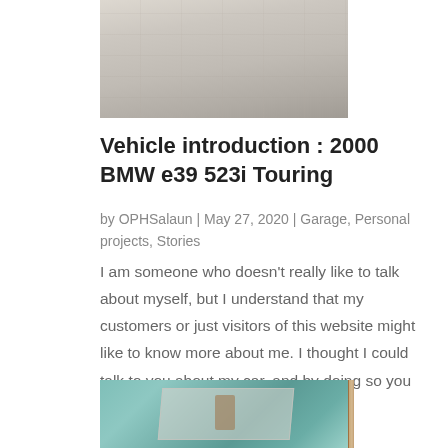[Figure (photo): Top portion of a photo showing a wooden or stone surface with light gray/beige tones, partially cropped]
Vehicle introduction : 2000 BMW e39 523i Touring
by OPHSalaun | May 27, 2020 | Garage, Personal projects, Stories
I am someone who doesn’t really like to talk about myself, but I understand that my customers or just visitors of this website might like to know more about me. I thought I could talk to you about my car, and by doing so you might get to know more about me…
[Figure (photo): Bottom portion of a photo showing a teal/turquoise car door or panel with a damaged/cracked plastic or glass component visible, and a wooden surface on the right edge]